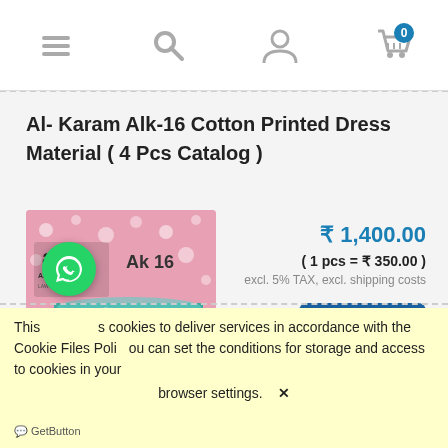Navigation bar with menu, search, user, and cart icons
Al- Karam Alk-16 Cotton Printed Dress Material ( 4 Pcs Catalog )
[Figure (photo): Product photo showing Al Karam Ak 16 cotton printed dress material with pink fabric and stacked folded pieces in teal, yellow, and other colors]
₹ 1,400.00
( 1 pcs = ₹ 350.00 )
excl. 5% TAX, excl. shipping costs
order now
This uses cookies to deliver services in accordance with the Cookie Files Policy. You can set the conditions for storage and access to cookies in your browser settings.
GetButton